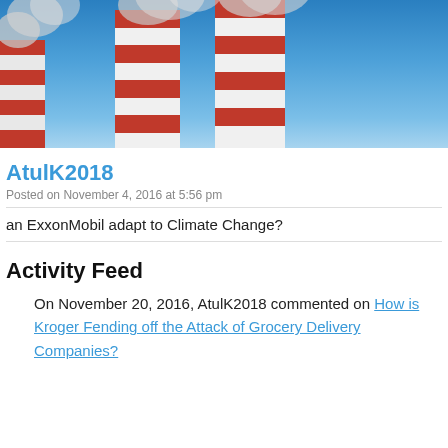[Figure (photo): Photo of industrial smokestacks with red and white stripes emitting smoke against a blue sky background]
AtulK2018
Posted on November 4, 2016 at 5:56 pm
an ExxonMobil adapt to Climate Change?
Activity Feed
On November 20, 2016, AtulK2018 commented on How is Kroger Fending off the Attack of Grocery Delivery Companies?